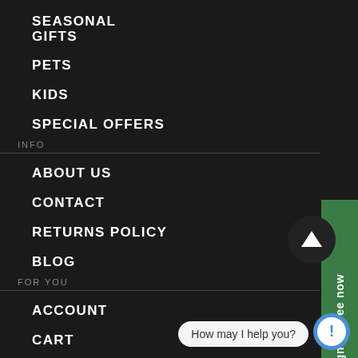SEASONAL GIFTS
PETS
KIDS
SPECIAL OFFERS
INFO
ABOUT US
CONTACT
RETURNS POLICY
BLOG
FOR YOU
ACCOUNT
CART
TERMS & CONDITIONS
Sign up free now
How may I help you?